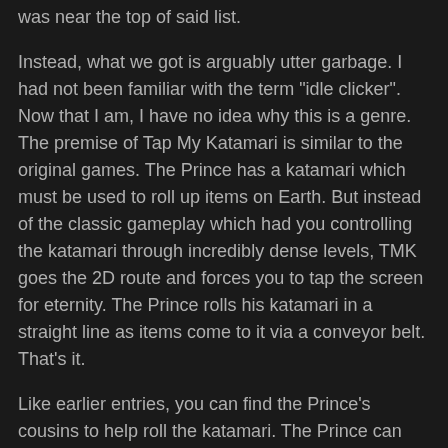was near the top of said list.
Instead, what we got is arguably utter garbage. I had not been familiar with the term "idle clicker". Now that I am, I have no idea why this is a genre. The premise of Tap My Katamari is similar to the original games. The Prince has a katamari which must be used to roll up items on Earth. But instead of the classic gameplay which had you controlling the katamari through incredibly dense levels, TMK goes the 2D route and forces you to tap the screen for eternity. The Prince rolls his katamari in a straight line as items come to it via a conveyor belt. That's it.
Like earlier entries, you can find the Prince's cousins to help roll the katamari. The Prince can also be leveled up through collecting the conveyor belt items and increase stats like strength and magnetism. But honestly, after two minutes of playing this game, I don't know how you wouldn't be bored.